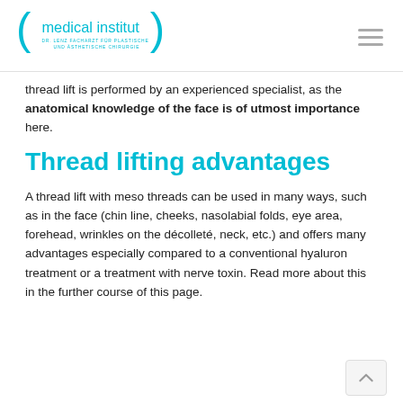medical institut — DR. LENZ FACHARZT FÜR PLASTISCHE UND ÄSTHETISCHE CHIRURGIE
thread lift is performed by an experienced specialist, as the anatomical knowledge of the face is of utmost importance here.
Thread lifting advantages
A thread lift with meso threads can be used in many ways, such as in the face (chin line, cheeks, nasolabial folds, eye area, forehead, wrinkles on the décolleté, neck, etc.) and offers many advantages especially compared to a conventional hyaluron treatment or a treatment with nerve toxin. Read more about this in the further course of this page.